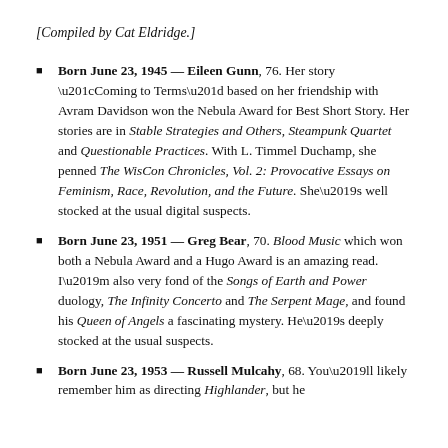[Compiled by Cat Eldridge.]
Born June 23, 1945 — Eileen Gunn, 76. Her story “Coming to Terms” based on her friendship with Avram Davidson won the Nebula Award for Best Short Story. Her stories are in Stable Strategies and Others, Steampunk Quartet and Questionable Practices. With L. Timmel Duchamp, she penned The WisCon Chronicles, Vol. 2: Provocative Essays on Feminism, Race, Revolution, and the Future. She’s well stocked at the usual digital suspects.
Born June 23, 1951 — Greg Bear, 70. Blood Music which won both a Nebula Award and a Hugo Award is an amazing read. I’m also very fond of the Songs of Earth and Power duology, The Infinity Concerto and The Serpent Mage, and found his Queen of Angels a fascinating mystery. He’s deeply stocked at the usual suspects.
Born June 23, 1953 — Russell Mulcahy, 68. You’ll likely remember him as directing Highlander, but he